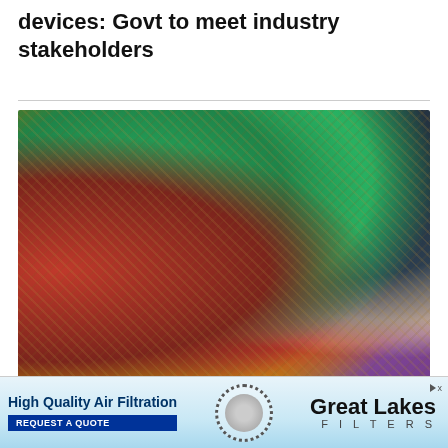devices: Govt to meet industry stakeholders
[Figure (photo): Overhead view of multiple burlap sacks filled with various pulses, lentils, and legumes including red kidney beans, green lentils, moong dal, orange/red lentils, black beans, speckled beans, yellow/brown lentils, and purple/maroon beans.]
Inflation falls for 3rd month
[Figure (infographic): Advertisement banner for Great Lakes Filters showing 'High Quality Air Filtration' with a 'REQUEST A QUOTE' button and the Great Lakes Filters logo.]